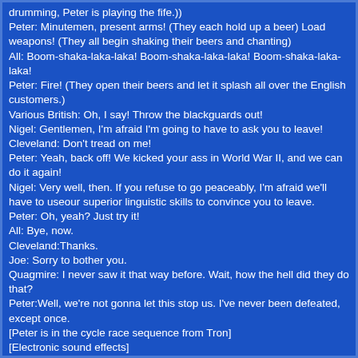drumming, Peter is playing the fife.))
Peter: Minutemen, present arms! (They each hold up a beer) Load weapons! (They all begin shaking their beers and chanting)
All: Boom-shaka-laka-laka! Boom-shaka-laka-laka! Boom-shaka-laka-laka!
Peter: Fire! (They open their beers and let it splash all over the English customers.)
Various British: Oh, I say! Throw the blackguards out!
Nigel: Gentlemen, I'm afraid I'm going to have to ask you to leave!
Cleveland: Don't tread on me!
Peter: Yeah, back off! We kicked your ass in World War II, and we can do it again!
Nigel: Very well, then. If you refuse to go peaceably, I'm afraid we'll have to useour superior linguistic skills to convince you to leave.
Peter: Oh, yeah? Just try it!
All: Bye, now.
Cleveland:Thanks.
Joe: Sorry to bother you.
Quagmire: I never saw it that way before. Wait, how the hell did they do that?
Peter:Well, we're not gonna let this stop us. I've never been defeated, except once.
[Peter is in the cycle race sequence from Tron]
[Electronic sound effects]
Peter: Eric?
Eric: Peter!